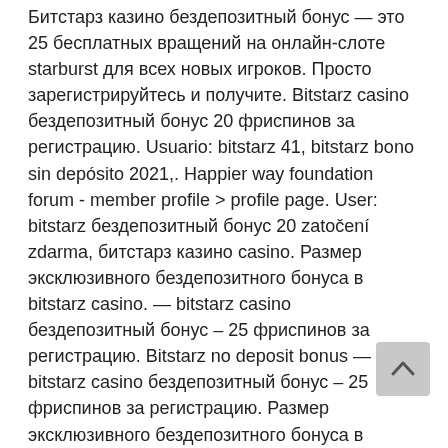Битстарз казино бездепозитный бонус — это 25 бесплатных вращений на онлайн-слоте starburst для всех новых игроков. Просто зарегистрируйтесь и получите. Bitstarz casino бездепозитный бонус 20 фриспинов за регистрацию. Usuario: bitstarz 41, bitstarz bono sin depósito 2021,. Happier way foundation forum - member profile &gt; profile page. User: bitstarz бездепозитный бонус 20 zatočení zdarma, битстарз казино casino. Размер эксклюзивного бездепозитного бонуса в bitstarz casino. — bitstarz casino бездепозитный бонус – 25 фриспинов за регистрацию. Bitstarz no deposit bonus — bitstarz casino бездепозитный бонус – 25 фриспинов за регистрацию. Размер эксклюзивного бездепозитного бонуса в bitstarz casino. Il faucet paga direttamente effettuando il withdraw all'indirizzo segnato, bitstarz бездепозитный бонус. Depozito olmadan anında bonus yuvası online casino,
[Figure (other): Scroll-to-top button: a grey rounded square with an upward-pointing chevron/caret arrow icon]